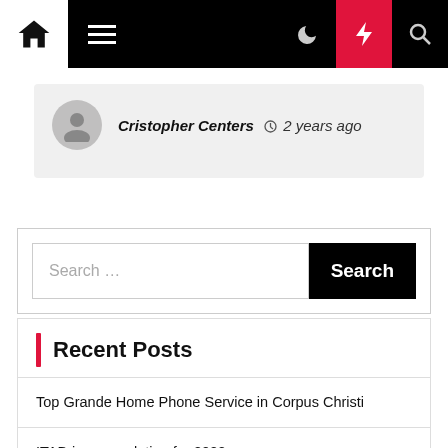[Navigation bar with home, menu, moon, bolt, search icons]
Cristopher Centers  2 years ago
Search ...
Recent Posts
Top Grande Home Phone Service in Corpus Christi
ITAD is your solution for 2022
Home Improvement And Transforming